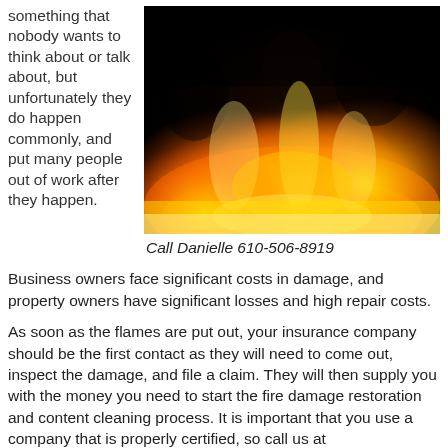something that nobody wants to think about or talk about, but unfortunately they do happen commonly, and put many people out of work after they happen.
[Figure (photo): Large photograph of bright orange and yellow flames against a black background, depicting fire.]
Call Danielle 610-506-8919
Business owners face significant costs in damage, and property owners have significant losses and high repair costs.
As soon as the flames are put out, your insurance company should be the first contact as they will need to come out, inspect the damage, and file a claim. They will then supply you with the money you need to start the fire damage restoration and content cleaning process. It is important that you use a company that is properly certified, so call us at